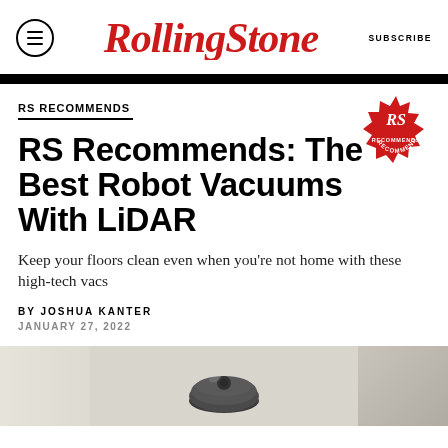Rolling Stone | SUBSCRIBE
RS RECOMMENDS
RS Recommends: The Best Robot Vacuums With LiDAR
Keep your floors clean even when you're not home with these high-tech vacs
BY JOSHUA KANTER
JANUARY 27, 2022
[Figure (photo): Photo of a robot vacuum on a light-colored floor near a wall]